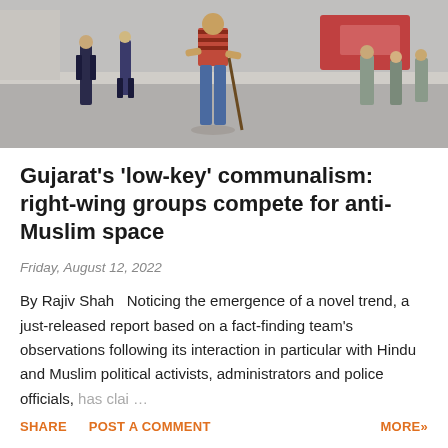[Figure (photo): Street scene photograph showing people standing on a road; a man with hands on hips stands in the center foreground, police/officials visible in background]
Gujarat's 'low-key' communalism: right-wing groups compete for anti-Muslim space
Friday, August 12, 2022
By Rajiv Shah  Noticing the emergence of a novel trend, a just-released report based on a fact-finding team's observations following its interaction in particular with Hindu and Muslim political activists, administrators and police officials, has clai …
SHARE   POST A COMMENT   MORE»